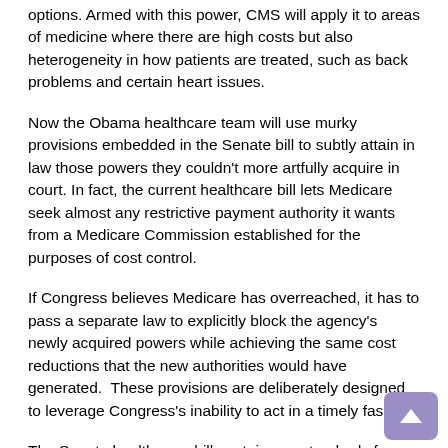options. Armed with this power, CMS will apply it to areas of medicine where there are high costs but also heterogeneity in how patients are treated, such as back problems and certain heart issues.
Now the Obama healthcare team will use murky provisions embedded in the Senate bill to subtly attain in law those powers they couldn't more artfully acquire in court. In fact, the current healthcare bill lets Medicare seek almost any restrictive payment authority it wants from a Medicare Commission established for the purposes of cost control.
If Congress believes Medicare has overreached, it has to pass a separate law to explicitly block the agency's newly acquired powers while achieving the same cost reductions that the new authorities would have generated.  These provisions are deliberately designed to leverage Congress's inability to act in a timely fashion.
The Senate health-care bill contains no standards for how these decisions will be made by Medicare, not even